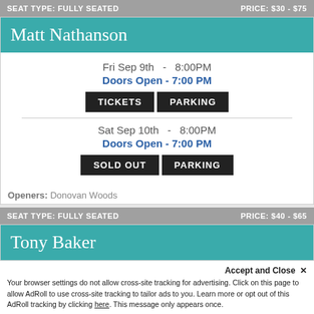SEAT TYPE: FULLY SEATED | PRICE: $30 - $75
Matt Nathanson
Fri Sep 9th  -  8:00PM
Doors Open - 7:00 PM
TICKETS  |  PARKING
Sat Sep 10th  -  8:00PM
Doors Open - 7:00 PM
SOLD OUT  |  PARKING
Openers: Donovan Woods
SEAT TYPE: FULLY SEATED | PRICE: $40 - $65
Tony Baker
Sun Sep 11th  -  7:00PM
Doors Open - 6:00 PM
Accept and Close x
Your browser settings do not allow cross-site tracking for advertising. Click on this page to allow AdRoll to use cross-site tracking to tailor ads to you. Learn more or opt out of this AdRoll tracking by clicking here. This message only appears once.